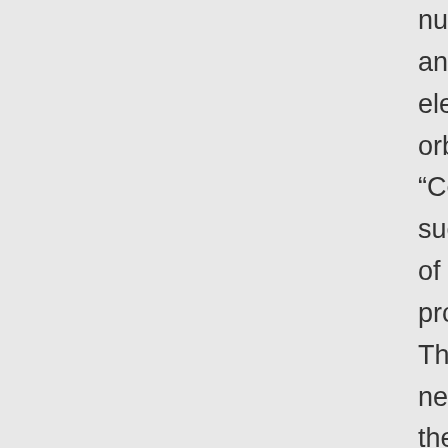nucleus (y) is jogging left (F) and the associated (G) electron (y) in the lowest orbital is also jogging left (F). “Cesium”, in itself, contains no such relationships. Properties of cesium supervene on other properties, but weakly, in that: They do not support the necessity which we observe in the description of the